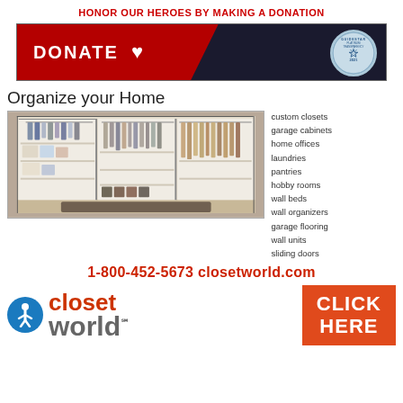HONOR OUR HEROES BY MAKING A DONATION
[Figure (infographic): Donate banner with red ribbon section showing DONATE text and heart icon, plus Guidestar Platinum Transparency 2021 badge on dark navy background]
[Figure (infographic): Closet World advertisement showing 'Organize your Home' title, photo of organized closet with hanging clothes and shelves, list of services including custom closets, garage cabinets, home offices, laundries, pantries, hobby rooms, wall beds, wall organizers, garage flooring, wall units, sliding doors]
1-800-452-5673  closetworld.com
[Figure (logo): Closet World logo with accessibility icon (blue circle with person symbol), 'closet world' text in orange/gray, and orange CLICK HERE button]